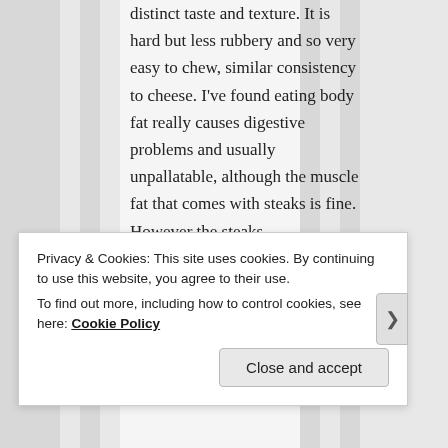distinct taste and texture. It is hard but less rubbery and so very easy to chew, similar consistency to cheese. I've found eating body fat really causes digestive problems and usually unpallatable, although the muscle fat that comes with steaks is fine. However the steaks
Privacy & Cookies: This site uses cookies. By continuing to use this website, you agree to their use.
To find out more, including how to control cookies, see here: Cookie Policy